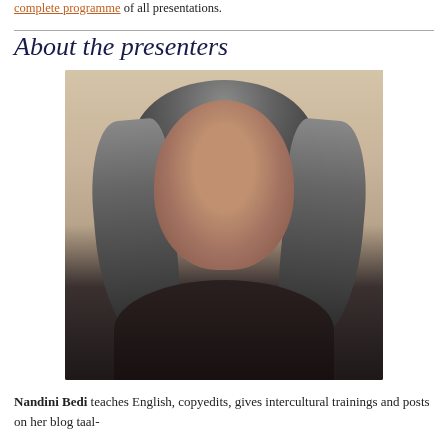complete programme of all presentations.
About the presenters
[Figure (photo): Portrait photo of Nandini Bedi, a woman with long grey streaked dark hair, wearing glasses, smiling at the camera against a light beige background.]
Nandini Bedi teaches English, copyedits, gives intercultural trainings and posts on her blog taal-